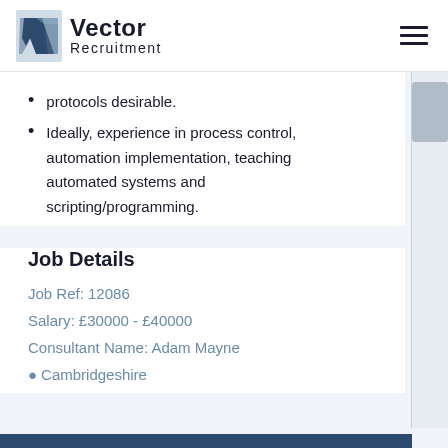Vector Recruitment
protocols desirable.
Ideally, experience in process control, automation implementation, teaching automated systems and scripting/programming.
Job Details
Job Ref: 12086
Salary: £30000 - £40000
Consultant Name: Adam Mayne
Cambridgeshire